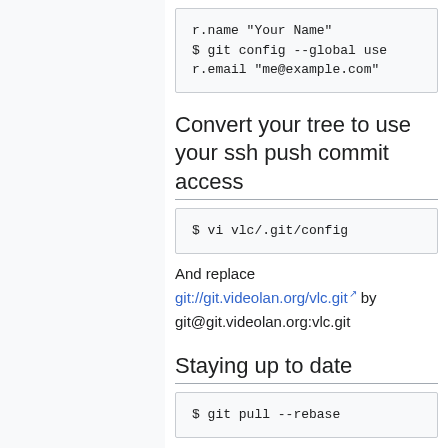[Figure (screenshot): Code block showing partial git config commands: r.name "Your Name", $ git config --global use, r.email "me@example.com"]
Convert your tree to use your ssh push commit access
[Figure (screenshot): Code block showing: $ vi vlc/.git/config]
And replace git://git.videolan.org/vlc.git by git@git.videolan.org:vlc.git
Staying up to date
[Figure (screenshot): Code block showing: $ git pull --rebase]
If you don't want to have to type --rebase everytime you pull do: